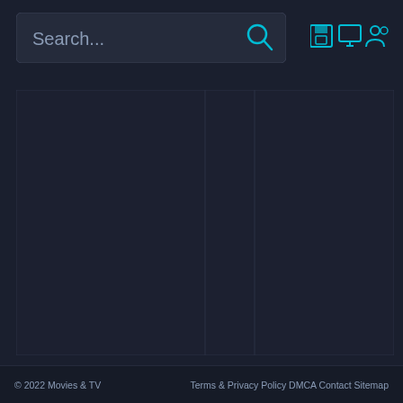[Figure (screenshot): Search bar with placeholder text 'Search...' and a cyan search icon on the right]
[Figure (screenshot): Three cyan icons on the right side of the header: a save/floppy disk icon, a monitor/screen icon, and a people/group icon]
[Figure (screenshot): Main content area with dark background divided into three columns separated by borders - all columns are empty/blank]
© 2022 Movies & TV   Terms & Privacy Policy DMCA Contact Sitemap